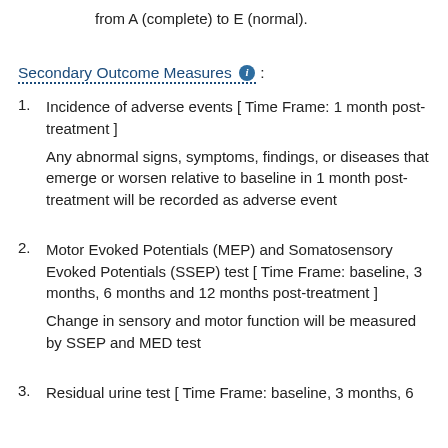from A (complete) to E (normal).
Secondary Outcome Measures :
Incidence of adverse events [ Time Frame: 1 month post-treatment ]
Any abnormal signs, symptoms, findings, or diseases that emerge or worsen relative to baseline in 1 month post-treatment will be recorded as adverse event
Motor Evoked Potentials (MEP) and Somatosensory Evoked Potentials (SSEP) test [ Time Frame: baseline, 3 months, 6 months and 12 months post-treatment ]
Change in sensory and motor function will be measured by SSEP and MED test
Residual urine test [ Time Frame: baseline, 3 months, 6